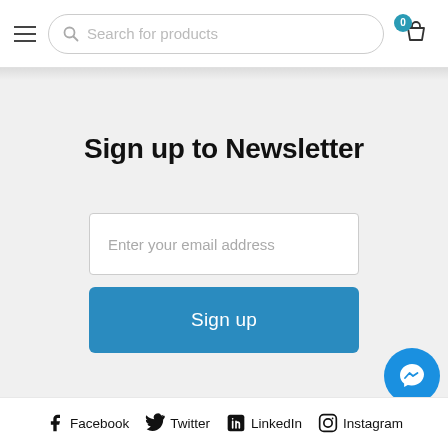[Figure (screenshot): Navigation header with hamburger menu, search bar labeled 'Search for products', and shopping cart icon with badge showing 0]
Sign up to Newsletter
[Figure (screenshot): Email input field with placeholder 'Enter your email address']
[Figure (screenshot): Blue 'Sign up' button]
[Figure (screenshot): Messenger chat bubble icon in bottom right]
Facebook  Twitter  LinkedIn  Instagram